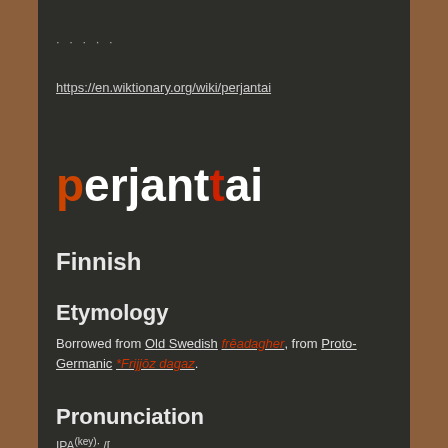·····
https://en.wiktionary.org/wiki/perjantai
perjantai
Finnish
Etymology
Borrowed from Old Swedish frēadagher, from Proto-Germanic *Frijjōz dagaz.
Pronunciation
IPA(key): /[...